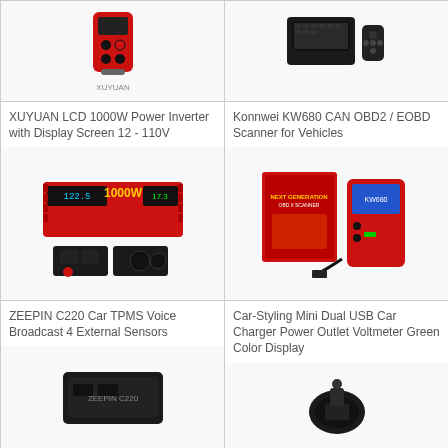[Figure (photo): XUYUAN LCD 1000W Power Inverter product photo - red device with display]
[Figure (photo): Konnwei KW680 CAN OBD2/EOBD Scanner - black scanner device with remote]
XUYUAN LCD 1000W Power Inverter with Display Screen 12 - 110V
Konnwei KW680 CAN OBD2 / EOBD Scanner for Vehicles
[Figure (photo): XUYUAN 1000W power inverter - red device with LCD and accessories]
[Figure (photo): Konnwei KW680 scanner with box and OBD connector cable]
ZEEPIN C220 Car TPMS Voice Broadcast 4 External Sensors
Car-Styling Mini Dual USB Car Charger Power Outlet Voltmeter Green Color Display
[Figure (photo): ZEEPIN C220 TPMS device - black box product]
[Figure (photo): Car charger - black device photo]